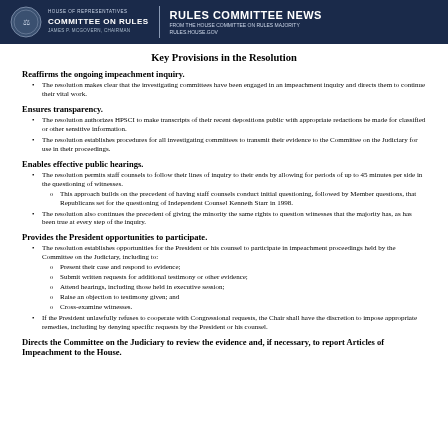HOUSE OF REPRESENTATIVES COMMITTEE ON RULES JAMES P. MCGOVERN, CHAIRMAN | RULES COMMITTEE NEWS FROM THE HOUSE COMMITTEE ON RULES MAJORITY RULES.HOUSE.GOV
Key Provisions in the Resolution
Reaffirms the ongoing impeachment inquiry.
The resolution makes clear that the investigating committees have been engaged in an impeachment inquiry and directs them to continue their vital work.
Ensures transparency.
The resolution authorizes HPSCI to make transcripts of their recent depositions public with appropriate redactions be made for classified or other sensitive information.
The resolution establishes procedures for all investigating committees to transmit their evidence to the Committee on the Judiciary for use in their proceedings.
Enables effective public hearings.
The resolution permits staff counsels to follow their lines of inquiry to their ends by allowing for periods of up to 45 minutes per side in the questioning of witnesses.
This approach builds on the precedent of having staff counsels conduct initial questioning, followed by Member questions, that Republicans set for the questioning of Independent Counsel Kenneth Starr in 1998.
The resolution also continues the precedent of giving the minority the same rights to question witnesses that the majority has, as has been true at every step of the inquiry.
Provides the President opportunities to participate.
The resolution establishes opportunities for the President or his counsel to participate in impeachment proceedings held by the Committee on the Judiciary, including to:
Present their case and respond to evidence;
Submit written requests for additional testimony or other evidence;
Attend hearings, including those held in executive session;
Raise an objection to testimony given; and
Cross-examine witnesses.
If the President unlawfully refuses to cooperate with Congressional requests, the Chair shall have the discretion to impose appropriate remedies, including by denying specific requests by the President or his counsel.
Directs the Committee on the Judiciary to review the evidence and, if necessary, to report Articles of Impeachment to the House.